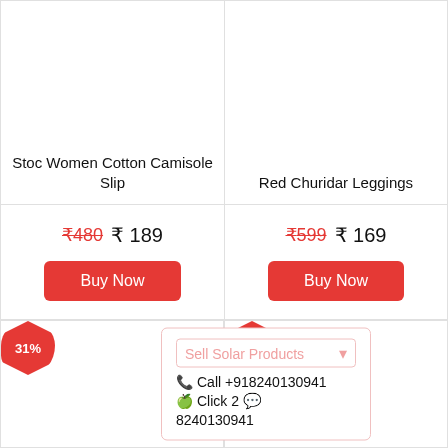Stoc Women Cotton Camisole Slip
₹480  ₹ 189
Buy Now
Red Churidar Leggings
₹599  ₹ 169
Buy Now
31%
42%
Sell Solar Products
Call +918240130941
Click 2 8240130941